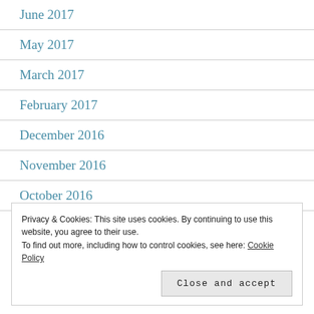June 2017
May 2017
March 2017
February 2017
December 2016
November 2016
October 2016
Privacy & Cookies: This site uses cookies. By continuing to use this website, you agree to their use. To find out more, including how to control cookies, see here: Cookie Policy
Close and accept